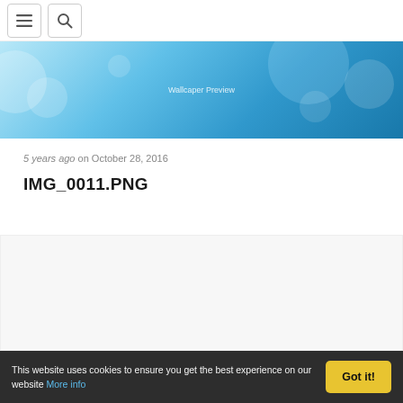[hamburger menu icon] [search icon]
[Figure (photo): Blue bokeh wallpaper preview banner with text 'Wallcaper Preview' centered]
5 years ago on October 28, 2016
IMG_0011.PNG
[Figure (other): White/light gray empty content area]
This website uses cookies to ensure you get the best experience on our website More info  Got it!